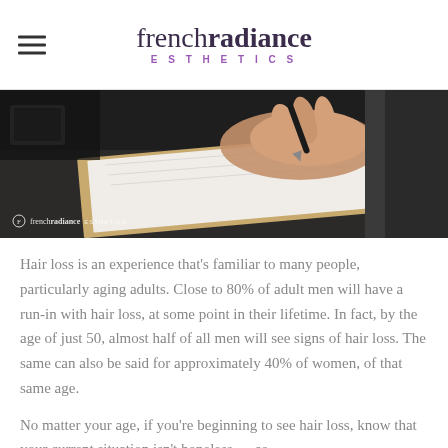french radiance ESTHETICS
[Figure (photo): A person's hand holding a pen and writing on a clipboard, with a French Radiance Esthetics logo watermark in the bottom left corner.]
Hair loss is an experience that's familiar to many people, particularly aging adults. Close to 80% of adult men will have a run-in with hair loss, at some point in their lifetime. In fact, by the age of just 50, almost half of all men will see signs of hair loss. The same can also be said for approximately 40% of women, of that same age.
No matter your age, if you're beginning to see hair loss, know that your current situation isn't hopeless — as